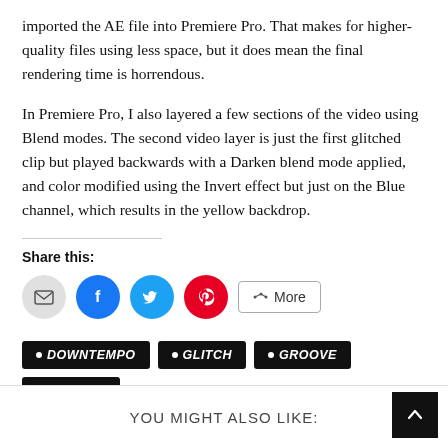imported the AE file into Premiere Pro. That makes for higher-quality files using less space, but it does mean the final rendering time is horrendous.
In Premiere Pro, I also layered a few sections of the video using Blend modes. The second video layer is just the first glitched clip but played backwards with a Darken blend mode applied, and color modified using the Invert effect but just on the Blue channel, which results in the yellow backdrop.
Share this:
[Figure (infographic): Social share buttons: email (grey circle), Facebook (blue circle), Twitter (light blue circle), Pinterest (red circle), and a More button with share icon]
DOWNTEMPO
GLITCH
GROOVE
PSY DUB
YOU MIGHT ALSO LIKE: